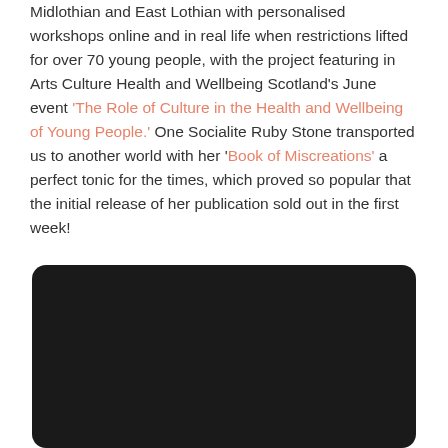Midlothian and East Lothian with personalised workshops online and in real life when restrictions lifted for over 70 young people, with the project featuring in Arts Culture Health and Wellbeing Scotland's June event 'The Role of Culture in the Health and Wellbeing of Young People.' One Socialite Ruby Stone transported us to another world with her 'Book of Miscreations' a perfect tonic for the times, which proved so popular that the initial release of her publication sold out in the first week!
[Figure (other): Dark rounded rectangle panel with a Privacy & Cookies Policy button at the bottom]